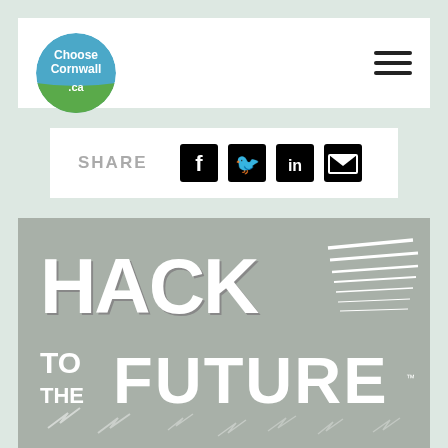[Figure (logo): ChooseCornwall.ca circular logo with blue top half and green bottom half]
SHARE
[Figure (screenshot): Social share icons: Facebook, Twitter, LinkedIn, Email]
[Figure (illustration): Hack to the Future logo on grey background with lightning bolts at bottom]